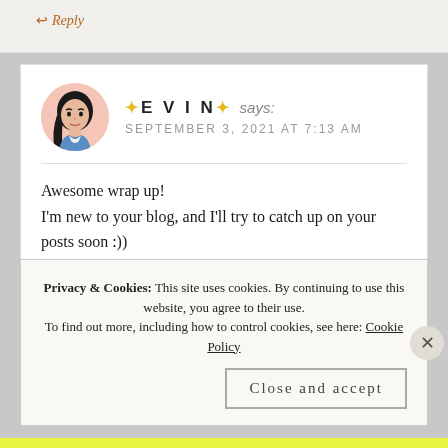↩ Reply
✦ E V I N ✦ says:
SEPTEMBER 3, 2021 AT 7:13 AM
Awesome wrap up!
I'm new to your blog, and I'll try to catch up on your posts soon :))
Have a great day! 😀
★ Liked by 2 people
↩ Reply
Privacy & Cookies: This site uses cookies. By continuing to use this website, you agree to their use.
To find out more, including how to control cookies, see here: Cookie Policy
Close and accept